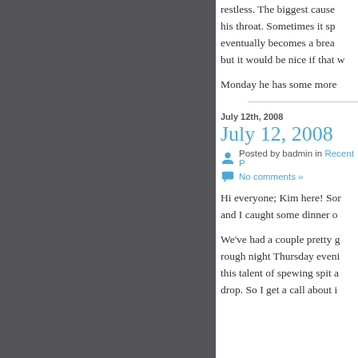restless. The biggest cause... his throat. Sometimes it sp... eventually becomes a brea... but it would be nice if that w...
Monday he has some more...
July 12th, 2008
July 12, 2008
Posted by badmin in Recent P...
No comments »
Hi everyone; Kim here! Sor... and I caught some dinner o...
We've had a couple pretty g... rough night Thursday eveni... this talent of spewing spit a... drop. So I get a call about i...